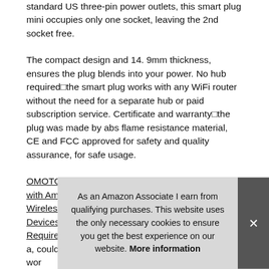standard US three-pin power outlets, this smart plug mini occupies only one socket, leaving the 2nd socket free.
The compact design and 14. 9mm thickness, ensures the plug blends into your power. No hub required■the smart plug works with any WiFi router without the need for a separate hub or paid subscription service. Certificate and warranty■the plug was made by abs flame resistance material, CE and FCC approved for safety and quality assurance, for safe usage.
OMOTON 2 Pack Mini Wifi Smart Plug compatible with Amazon Alexa,Google Home, IFTTT, 15A Wireless Socket Outlet Remotely Controls your Devices from anywhere,No Hub RequiredAndroid/IOS #ad -. Safe and seek■max 15 a, could work... the... child... sun... face...
As an Amazon Associate I earn from qualifying purchases. This website uses the only necessary cookies to ensure you get the best experience on our website. More information